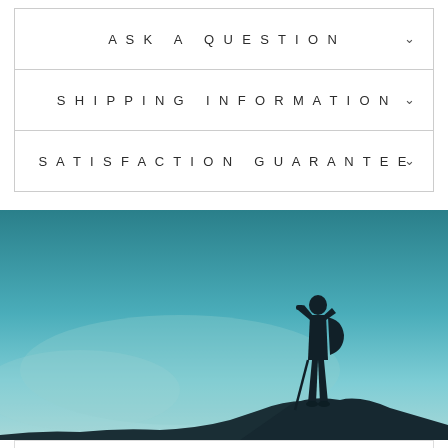ASK A QUESTION
SHIPPING INFORMATION
SATISFACTION GUARANTEE
[Figure (photo): Silhouette of a hiker with a backpack standing on a rocky peak, looking through binoculars, against a teal/blue sky background]
RELIVE YOUR ADVENTURES